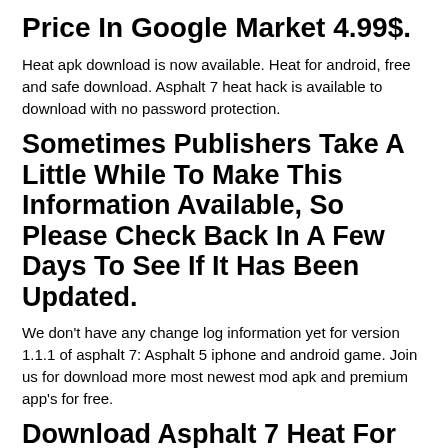Price In Google Market 4.99$.
Heat apk download is now available. Heat for android, free and safe download. Asphalt 7 heat hack is available to download with no password protection.
Sometimes Publishers Take A Little While To Make This Information Available, So Please Check Back In A Few Days To See If It Has Been Updated.
We don't have any change log information yet for version 1.1.1 of asphalt 7: Asphalt 5 iphone and android game. Join us for download more most newest mod apk and premium app's for free.
Download Asphalt 7 Heat For Pc.
Download latest version for android. Racing car games allow you to drive incredible racing cars without having to visit your. Asphalt 7